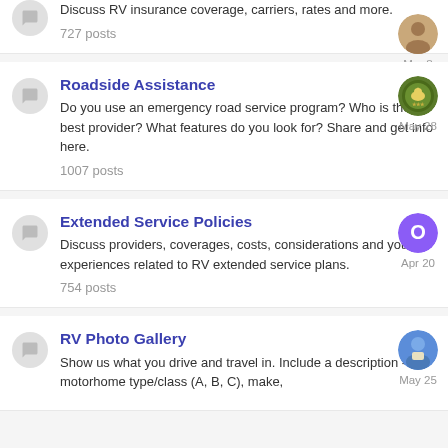Discuss RV insurance coverage, carriers, rates and more.
727 posts
Roadside Assistance
Do you use an emergency road service program? Who is the best provider? What features do you look for? Share and get info here.
1007 posts
Extended Service Policies
Discuss providers, coverages, costs, considerations and your experiences related to RV extended service plans.
754 posts
RV Photo Gallery
Show us what you drive and travel in. Include a description -- motorhome type/class (A, B, C), make,